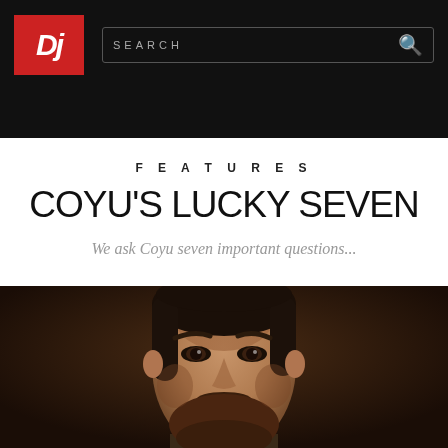DJ Mag — Navigation header with logo, search, and hamburger menu
FEATURES
COYU'S LUCKY SEVEN
We ask Coyu seven important questions...
[Figure (photo): Close-up portrait of a bearded man with long dark hair against a dark brown background]